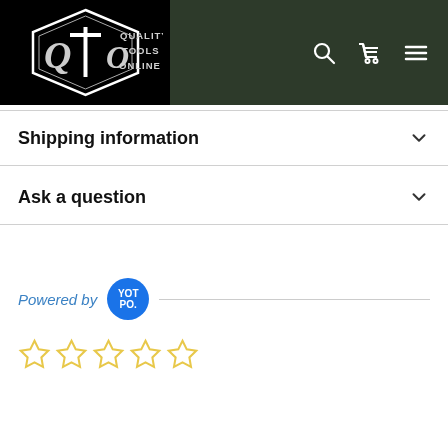[Figure (logo): Quality Tools Online logo: hexagon shape with QTO letters and text 'QUALITY TOOLS ONLINE' on black background, in white/silver style]
Shipping information
Ask a question
Powered by YOTPO.
[Figure (other): Five empty star rating icons in yellow/gold outline]